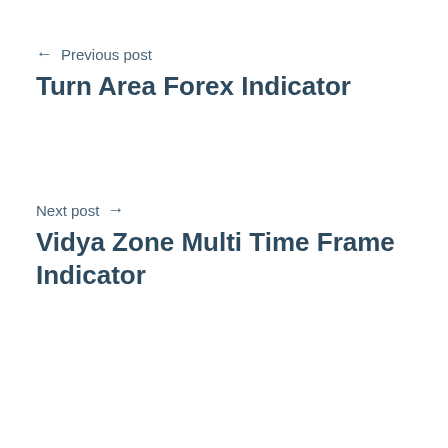← Previous post
Turn Area Forex Indicator
Next post →
Vidya Zone Multi Time Frame Indicator